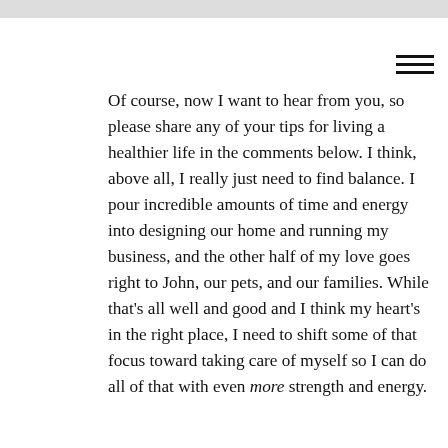[Figure (photo): Partial top image, cropped, light gray/beige background]
Of course, now I want to hear from you, so please share any of your tips for living a healthier life in the comments below. I think, above all, I really just need to find balance. I pour incredible amounts of time and energy into designing our home and running my business, and the other half of my love goes right to John, our pets, and our families. While that's all well and good and I think my heart's in the right place, I need to shift some of that focus toward taking care of myself so I can do all of that with even more strength and energy.
[Figure (photo): Partial bottom image showing nuts/granola on beige background]
Join Our DIY Tribe!
Enter your email
Subscribe